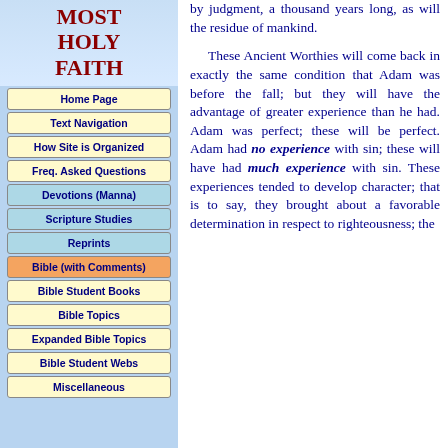MOST HOLY FAITH
Home Page
Text Navigation
How Site is Organized
Freq. Asked Questions
Devotions (Manna)
Scripture Studies
Reprints
Bible (with Comments)
Bible Student Books
Bible Topics
Expanded Bible Topics
Bible Student Webs
Miscellaneous
by judgment, a thousand years long, as will the residue of mankind.

These Ancient Worthies will come back in exactly the same condition that Adam was before the fall; but they will have the advantage of greater experience than he had. Adam was perfect; these will be perfect. Adam had no experience with sin; these will have had much experience with sin. These experiences tended to develop character; that is to say, they brought about a favorable determination in respect to righteousness; the